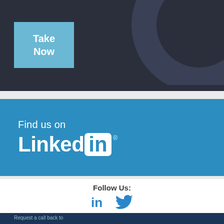[Figure (other): Dark banner with a light blue 'Take Now' button on the left and a circular decorative arc graphic on the right]
[Figure (other): Blue LinkedIn promotional banner with text 'Find us on LinkedIn' and the LinkedIn logo with registered trademark symbol]
Follow Us:
[Figure (logo): LinkedIn and Twitter social media icons in blue]
Request a call back to
DISCUSS YOUR NEEDS
Your Name *